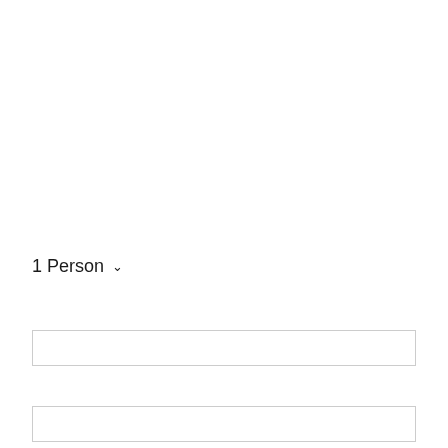1 Person ∨
[Figure (other): Empty text input field 1]
[Figure (other): Empty text input field 2]